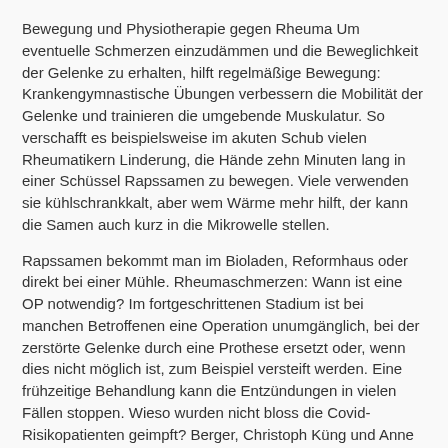Bewegung und Physiotherapie gegen Rheuma Um eventuelle Schmerzen einzudämmen und die Beweglichkeit der Gelenke zu erhalten, hilft regelmäßige Bewegung: Krankengymnastische Übungen verbessern die Mobilität der Gelenke und trainieren die umgebende Muskulatur. So verschafft es beispielsweise im akuten Schub vielen Rheumatikern Linderung, die Hände zehn Minuten lang in einer Schüssel Rapssamen zu bewegen. Viele verwenden sie kühlschrankkalt, aber wem Wärme mehr hilft, der kann die Samen auch kurz in die Mikrowelle stellen.
Rapssamen bekommt man im Bioladen, Reformhaus oder direkt bei einer Mühle. Rheumaschmerzen: Wann ist eine OP notwendig? Im fortgeschrittenen Stadium ist bei manchen Betroffenen eine Operation unumgänglich, bei der zerstörte Gelenke durch eine Prothese ersetzt oder, wenn dies nicht möglich ist, zum Beispiel versteift werden. Eine frühzeitige Behandlung kann die Entzündungen in vielen Fällen stoppen. Wieso wurden nicht bloss die Covid-Risikopatienten geimpft? Berger, Christoph Küng und Anne Spaar haben Ihre Fragen im Puls-Chat beantwortet. Diesen Artikel als erste Person teilen. Augen, als ich das als mögliche Nachwirkung erwähnte. Er gab mir dann DERMOVATE CREME.